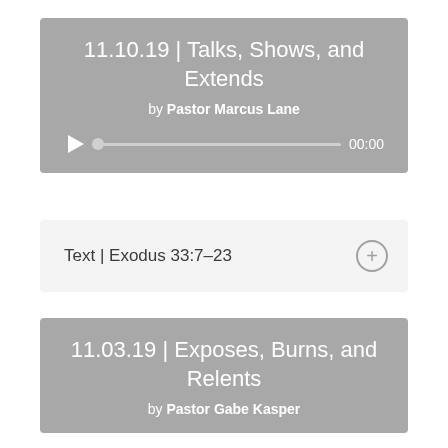11.10.19 | Talks, Shows, and Extends
by Pastor Marcus Lane
00:00
Text | Exodus 33:7–23
11.03.19 | Exposes, Burns, and Relents
by Pastor Gabe Kasper